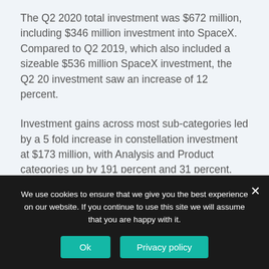The Q2 2020 total investment was $672 million, including $346 million investment into SpaceX. Compared to Q2 2019, which also included a sizeable $536 million SpaceX investment, the Q2 20 investment saw an increase of 12 percent.
Investment gains across most sub-categories led by a 5 fold increase in constellation investment at $173 million, with Analysis and Product categories up by 191 percent and 31 percent, respectively. Two categories saw declines, Launch and Downlink, both falling...
We use cookies to ensure that we give you the best experience on our website. If you continue to use this site we will assume that you are happy with it.